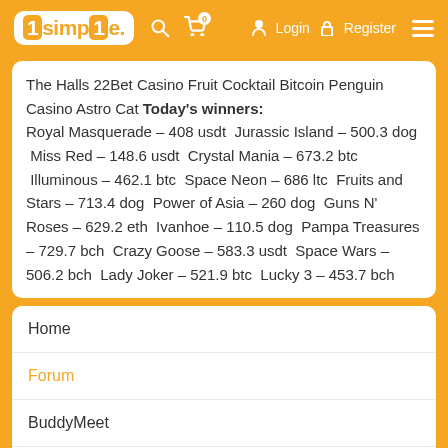1simple. Login Register
The Halls 22Bet Casino Fruit Cocktail Bitcoin Penguin Casino Astro Cat Today's winners: Royal Masquerade – 408 usdt  Jurassic Island – 500.3 dog  Miss Red – 148.6 usdt  Crystal Mania – 673.2 btc  Illuminous – 462.1 btc  Space Neon – 686 ltc  Fruits and Stars – 713.4 dog  Power of Asia – 260 dog  Guns N' Roses – 629.2 eth  Ivanhoe – 110.5 dog  Pampa Treasures – 729.7 bch  Crazy Goose – 583.3 usdt  Space Wars – 506.2 bch  Lady Joker – 521.9 btc  Lucky 3 – 453.7 bch
Home
Forum
BuddyMeet
Members 1